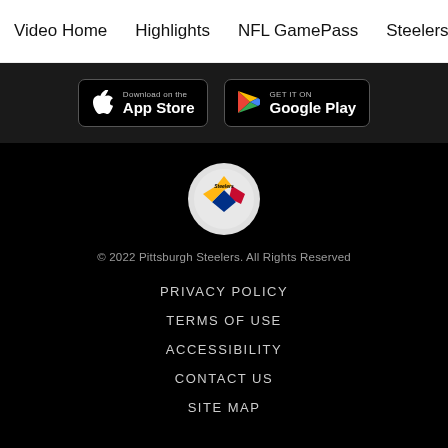Video Home  Highlights  NFL GamePass  Steelers Live  The Sta
[Figure (screenshot): App Store and Google Play download buttons on dark background]
[Figure (logo): Pittsburgh Steelers logo — circular emblem with gold, red, and blue diamond shapes on white background]
© 2022 Pittsburgh Steelers. All Rights Reserved
PRIVACY POLICY
TERMS OF USE
ACCESSIBILITY
CONTACT US
SITE MAP